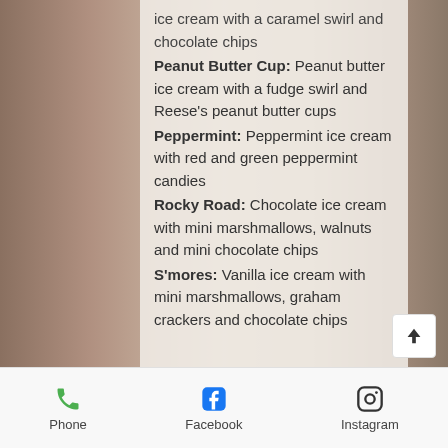[Figure (photo): Background photo of ice cream tubs/containers, warm brown tones]
ice cream with a caramel swirl and chocolate chips
Peanut Butter Cup: Peanut butter ice cream with a fudge swirl and Reese's peanut butter cups
Peppermint: Peppermint ice cream with red and green peppermint candies
Rocky Road: Chocolate ice cream with mini marshmallows, walnuts and mini chocolate chips
S'mores: Vanilla ice cream with mini marshmallows, graham crackers and chocolate chips
Phone   Facebook   Instagram